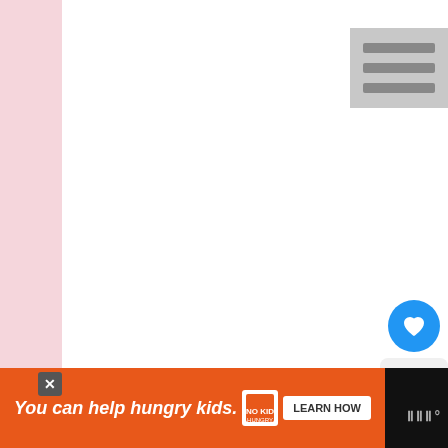[Figure (screenshot): Website screenshot showing a white content area with a hamburger menu icon in top right, a blue heart/like button with count of 3, a share button, and a partial photo of what appears to be a dark-gloved hand or statue at the bottom. A 'What's Next' panel shows a link to 'DIY Upcycled Dollar Store...' with a thumbnail image. The page has a pink background on the sides.]
WHAT'S NEXT →
DIY Upcycled Dollar Store...
3
You can help hungry kids.
LEARN HOW